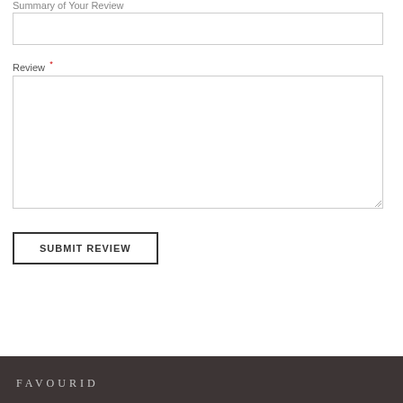Summary of Your Review
[Figure (other): Text input box for summary of review]
Review *
[Figure (other): Large textarea for review text with resize handle]
SUBMIT REVIEW
FAVOURID